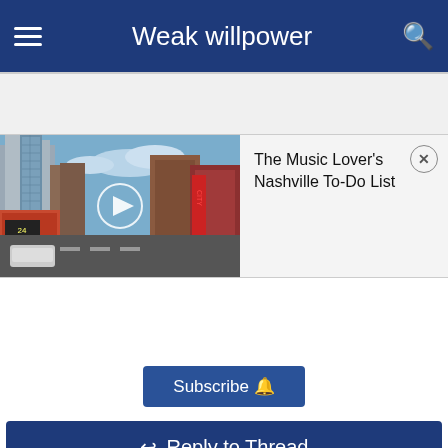Weak willpower
[Figure (screenshot): Screenshot of a mobile forum app showing a Nashville city street scene video thumbnail with a play button, beside text 'The Music Lover's Nashville To-Do List' and a close button]
Subscribe
Reply to Thread
Back to Subforum
Black Powder